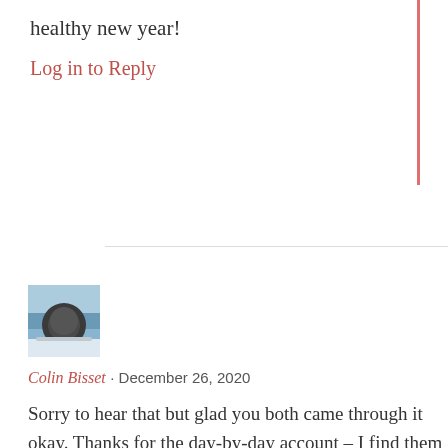healthy new year!
Log in to Reply
[Figure (photo): Avatar photo of Colin Bisset — person wearing dark jacket outdoors with blue sky and landscape in background]
Colin Bisset · December 26, 2020
Sorry to hear that but glad you both came through it okay. Thanks for the day-by-day account – I find them oddly interesting! I've had only one swab but it was beautifully and painlessly done by a Japanese nurse… Hope